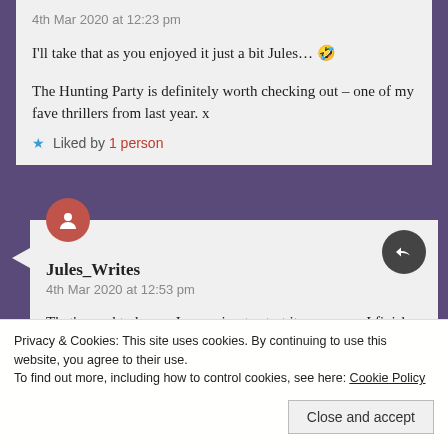4th Mar 2020 at 12:23 pm
I'll take that as you enjoyed it just a bit Jules... 🤣
The Hunting Party is definitely worth checking out – one of my fave thrillers from last year. x
★ Liked by 1 person
Jules_Writes
4th Mar 2020 at 12:53 pm
That's good to here – I am going to start it as soon as I finish my current reads and probably after
Privacy & Cookies: This site uses cookies. By continuing to use this website, you agree to their use.
To find out more, including how to control cookies, see here: Cookie Policy
Close and accept